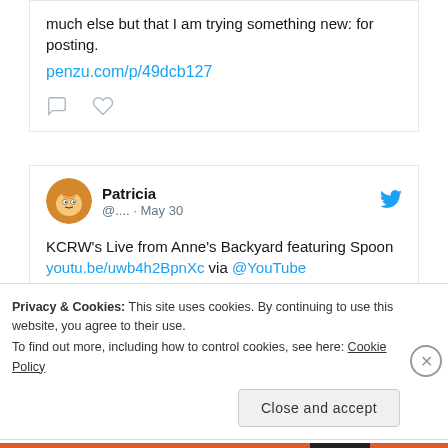much else but that I am trying something new: for posting. penzu.com/p/49dcb127
Patricia @.... · May 30
KCRW's Live from Anne's Backyard featuring Spoon youtu.be/uwb4h2BpnXc via @YouTube
[Figure (screenshot): YouTube video thumbnail preview showing a dark thumbnail image on the left and 'youtube....' text label on the right]
Privacy & Cookies: This site uses cookies. By continuing to use this website, you agree to their use.
To find out more, including how to control cookies, see here: Cookie Policy
Close and accept